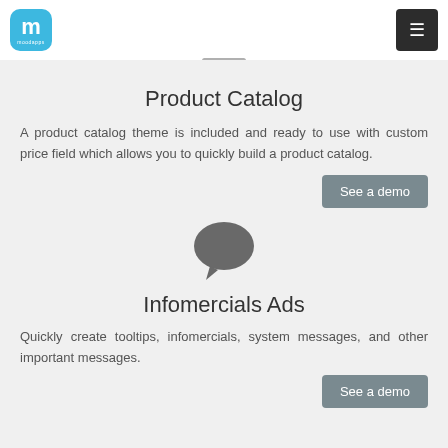moodapps logo and navigation menu
Product Catalog
A product catalog theme is included and ready to use with custom price field which allows you to quickly build a product catalog.
[Figure (illustration): Gray speech bubble / chat icon]
Infomercials Ads
Quickly create tooltips, infomercials, system messages, and other important messages.